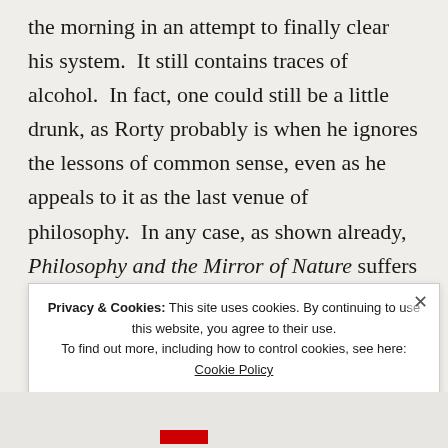the morning in an attempt to finally clear his system.  It still contains traces of alcohol.  In fact, one could still be a little drunk, as Rorty probably is when he ignores the lessons of common sense, even as he appeals to it as the last venue of philosophy.  In any case, as shown already, Philosophy and the Mirror of Nature suffers from a serious self-referentiality problem and an array of conceptual distortions, and the basis of those problems come
Privacy & Cookies: This site uses cookies. By continuing to use this website, you agree to their use.
To find out more, including how to control cookies, see here:
Cookie Policy
Close and accept